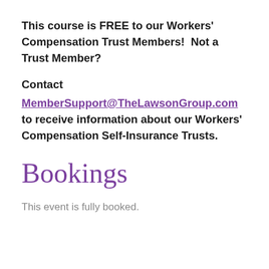This course is FREE to our Workers' Compensation Trust Members!  Not a Trust Member?
Contact MemberSupport@TheLawsonGroup.com to receive information about our Workers' Compensation Self-Insurance Trusts.
Bookings
This event is fully booked.